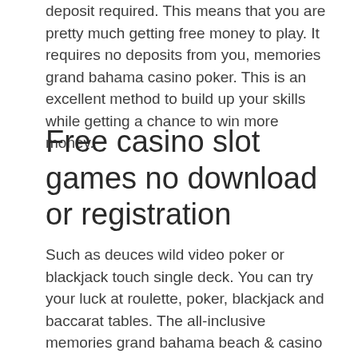deposit required. This means that you are pretty much getting free money to play. It requires no deposits from you, memories grand bahama casino poker. This is an excellent method to build up your skills while getting a chance to win more money.
Free casino slot games no download or registration
Such as deuces wild video poker or blackjack touch single deck. You can try your luck at roulette, poker, blackjack and baccarat tables. The all-inclusive memories grand bahama beach &amp; casino resort is inspired by the sun-kissed beauty and rich culture of grand bahama island. Memories grand bahama beach and casino freeport bahamas | online casino – read the best guide on online casinos. When you play at a